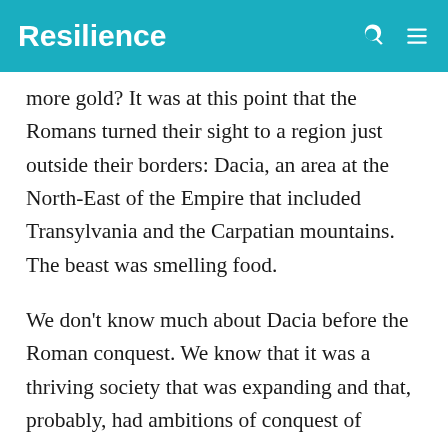Resilience
more gold? It was at this point that the Romans turned their sight to a region just outside their borders: Dacia, an area at the North-East of the Empire that included Transylvania and the Carpatian mountains. The beast was smelling food.
We don't know much about Dacia before the Roman conquest. We know that it was a thriving society that was expanding and that, probably, had ambitions of conquest of